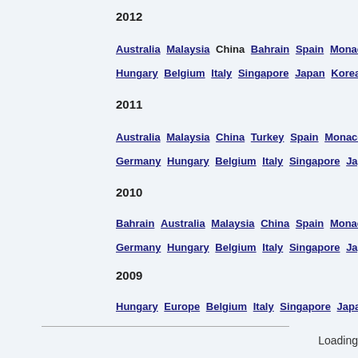2012
Australia Malaysia China Bahrain Spain Monaco Ca... Hungary Belgium Italy Singapore Japan Korea Indi...
2011
Australia Malaysia China Turkey Spain Monaco Ca... Germany Hungary Belgium Italy Singapore Japan H...
2010
Bahrain Australia Malaysia China Spain Monaco Tu... Germany Hungary Belgium Italy Singapore Japan K...
2009
Hungary Europe Belgium Italy Singapore Japan
Loading...